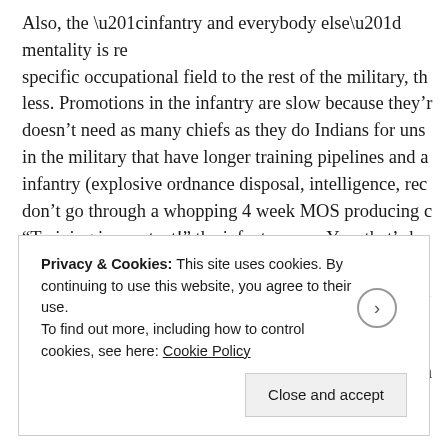Also, the “infantry and everybody else” mentality is re specific occupational field to the rest of the military, th less. Promotions in the infantry are slow because they’r doesn’t need as many chiefs as they do Indians for uns in the military that have longer training pipelines and a infantry (explosive ordnance disposal, intelligence, rec don’t go through a whopping 4 week MOS producing c “Training is constant!” the infantry says. Yep, that’s ho And guess what? Some non-infantry also have to go “o hazardous environments where they could be killed wh those guys POGs and tell them they have easy jobs bec At least they’ll leave the service with not only stories b interested in outside of “snapping necks and cashing ch
Privacy & Cookies: This site uses cookies. By continuing to use this website, you agree to their use.
To find out more, including how to control cookies, see here: Cookie Policy
Close and accept